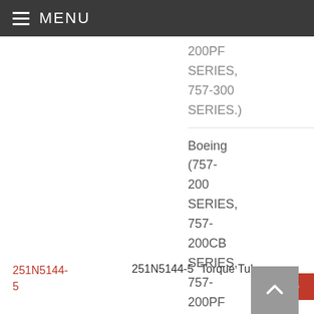MENU
200PF SERIES, 757-300 SERIES.)
Boeing (757-200 SERIES, 757-200CB SERIES, 757-200PF SERIES,
251N5144-5  251N5144-5  Torque Tube